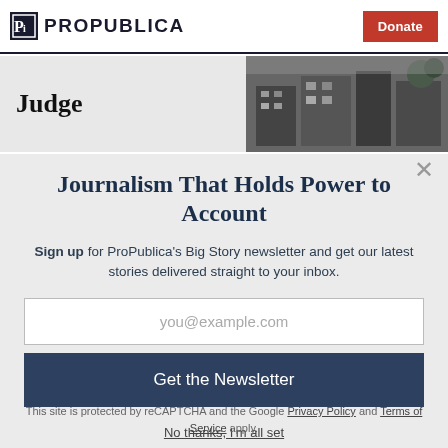ProPublica — Donate
Judge
Journalism That Holds Power to Account
Sign up for ProPublica's Big Story newsletter and get our latest stories delivered straight to your inbox.
you@example.com
Get the Newsletter
No thanks, I'm all set
This site is protected by reCAPTCHA and the Google Privacy Policy and Terms of Service apply.